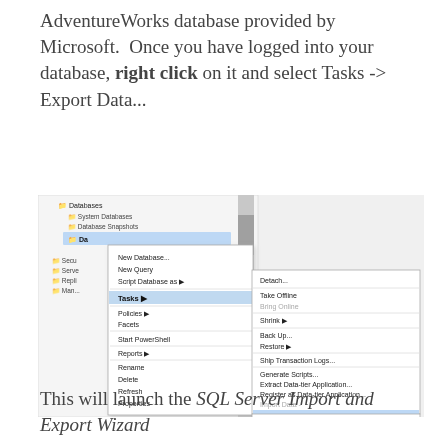AdventureWorks database provided by Microsoft.  Once you have logged into your database, right click on it and select Tasks -> Export Data...
[Figure (screenshot): SQL Server Management Studio context menu screenshot showing right-click menu on a database with Tasks submenu expanded, highlighting 'Export Data...' option in the submenu]
This will launch the SQL Server Import and Export Wizard